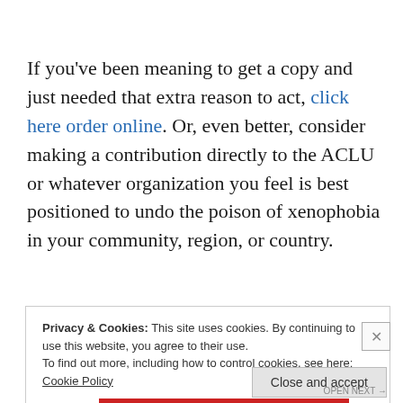If you've been meaning to get a copy and just needed that extra reason to act, click here order online. Or, even better, consider making a contribution directly to the ACLU or whatever organization you feel is best positioned to undo the poison of xenophobia in your community, region, or country.
Privacy & Cookies: This site uses cookies. By continuing to use this website, you agree to their use.
To find out more, including how to control cookies, see here: Cookie Policy
Close and accept